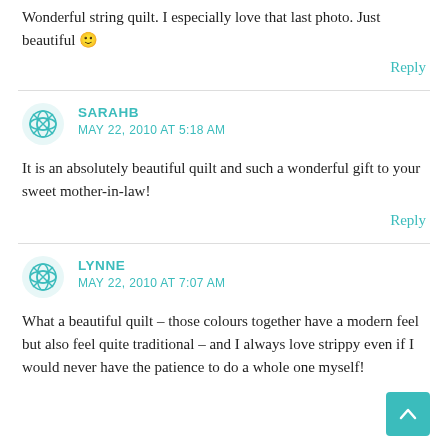Wonderful string quilt. I especially love that last photo. Just beautiful 🙂
Reply
SARAHB
MAY 22, 2010 AT 5:18 AM
It is an absolutely beautiful quilt and such a wonderful gift to your sweet mother-in-law!
Reply
LYNNE
MAY 22, 2010 AT 7:07 AM
What a beautiful quilt – those colours together have a modern feel but also feel quite traditional – and I always love strippy even if I would never have the patience to do a whole one myself!